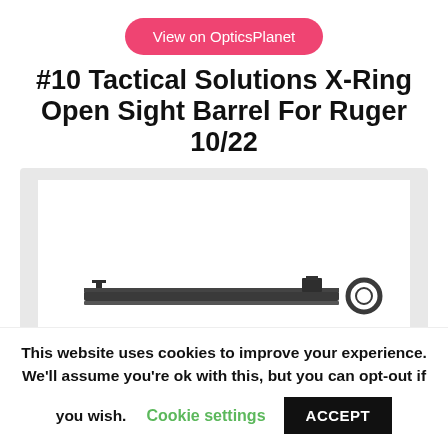View on OpticsPlanet
#10 Tactical Solutions X-Ring Open Sight Barrel For Ruger 10/22
[Figure (photo): Product photo of a rifle barrel (Tactical Solutions X-Ring Open Sight Barrel for Ruger 10/22), shown horizontally on a white background. The barrel is dark/black with sights visible at each end.]
This website uses cookies to improve your experience. We'll assume you're ok with this, but you can opt-out if you wish. Cookie settings ACCEPT